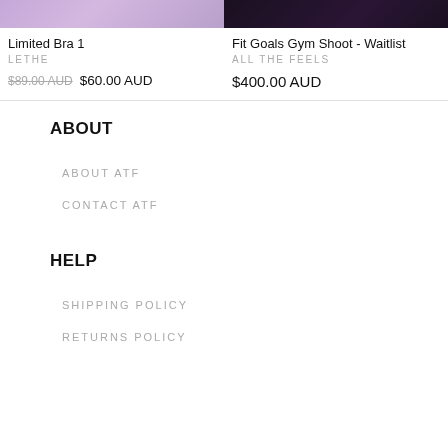[Figure (photo): Product image for Limited Bra 1, partially visible at top, purple/lavender tones]
[Figure (photo): Product image for Fit Goals Gym Shoot - Waitlist, dark background with pink accent]
Limited Bra 1
LETHE
$89.00 AUD  $60.00 AUD
Fit Goals Gym Shoot - Waitlist
ALL THE FEELS
$400.00 AUD
ABOUT
ABOUT ATF
CONTACT ATF
HELP
SHIPPING POLICY
RETURNS POLICY